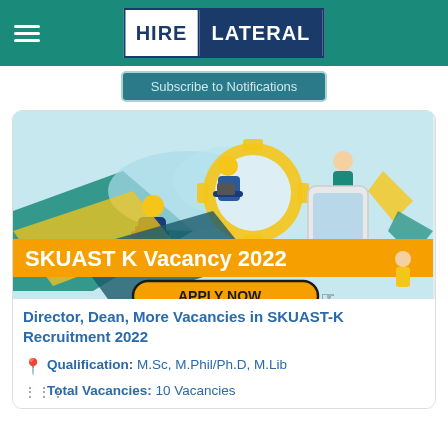HIRE LATERAL
Subscribe to Notifications
[Figure (illustration): Job recruitment illustration showing people working on laptops with gears, a smartphone, and the text SKUAST K Vacancy 2022 on an orange banner, with an APPLY NOW button]
Director, Dean, More Vacancies in SKUAST-K Recruitment 2022
Qualification: M.Sc, M.Phil/Ph.D, M.Lib
Total Vacancies: 10 Vacancies